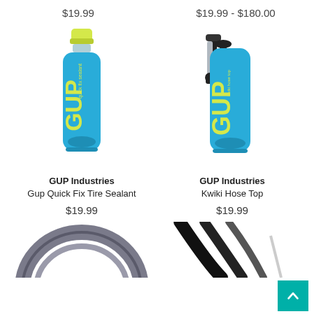$19.99
$19.99 - $180.00
[Figure (photo): GUP Industries Gup Quick Fix Tire Sealant — blue aerosol can with yellow GUP logo and green cap]
GUP Industries
Gup Quick Fix Tire Sealant
$19.99
[Figure (photo): GUP Industries Kwiki Hose Top — blue aerosol can with yellow GUP logo and black hose attachment on top]
GUP Industries
Kwiki Hose Top
$19.99
[Figure (photo): Partial image of a grey bicycle tire/tube coiled]
[Figure (photo): Partial image of black bicycle cables/tubes]
[Figure (other): Teal/turquoise back-to-top button with white upward chevron arrow]